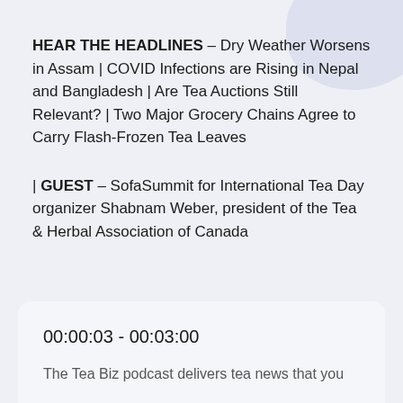HEAR THE HEADLINES – Dry Weather Worsens in Assam | COVID Infections are Rising in Nepal and Bangladesh | Are Tea Auctions Still Relevant? | Two Major Grocery Chains Agree to Carry Flash-Frozen Tea Leaves
| GUEST – SofaSummit for International Tea Day organizer Shabnam Weber, president of the Tea & Herbal Association of Canada
00:00:03 - 00:03:00
The Tea Biz podcast delivers tea news that you